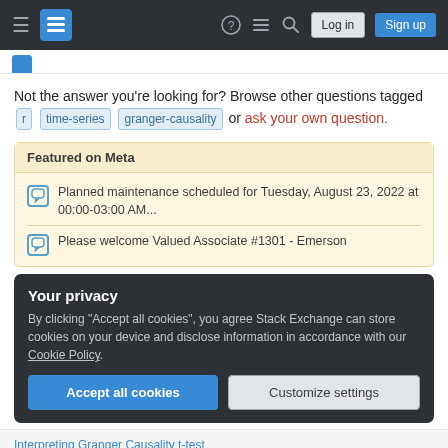Stack Exchange navigation bar with hamburger menu, logo, help, chat, search icons, Log in and Sign up buttons
Not the answer you're looking for? Browse other questions tagged r time-series granger-causality or ask your own question.
Featured on Meta
Planned maintenance scheduled for Tuesday, August 23, 2022 at 00:00-03:00 AM...
Please welcome Valued Associate #1301 - Emerson
Your privacy
By clicking "Accept all cookies", you agree Stack Exchange can store cookies on your device and disclose information in accordance with our Cookie Policy.
Accept all cookies   Customize settings
Interpreting Granger Causality t-test